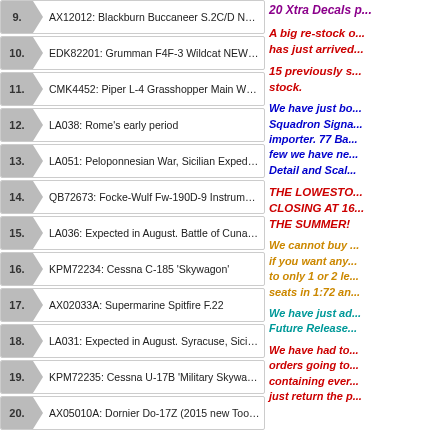9. AX12012: Blackburn Buccaneer S.2C/D NEW TOOLING in 202...
10. EDK82201: Grumman F4F-3 Wildcat NEW TOOLING! (first d...
11. CMK4452: Piper L-4 Grasshopper Main Wheels These new r...
12. LA038: Rome's early period
13. LA051: Peloponnesian War, Sicilian Expedition 415-413 BC S...
14. QB72673: Focke-Wulf Fw-190D-9 Instrument panel cover (de...
15. LA036: Expected in August. Battle of Cunaxa 401B.C. Set 3 "...
16. KPM72234: Cessna C-185 'Skywagon'
17. AX02033A: Supermarine Spitfire F.22
18. LA031: Expected in August. Syracuse, Sicily War Set 1 (new ...
19. KPM72235: Cessna U-17B 'Military Skywagon'
20. AX05010A: Dornier Do-17Z (2015 new Tooling)
20 Xtra Decals p...
A big re-stock o... has just arrived...
15 previously s... stock.
We have just bo... Squadron Signa... importer. 77 Ba... few we have ne... Detail and Scal...
THE LOWESTO... CLOSING AT 16... THE SUMMER!
We cannot buy ... if you want any... to only 1 or 2 le... seats in 1:72 an...
We have just ad... Future Release...
We have had to... orders going to... containing ever... just return the p...